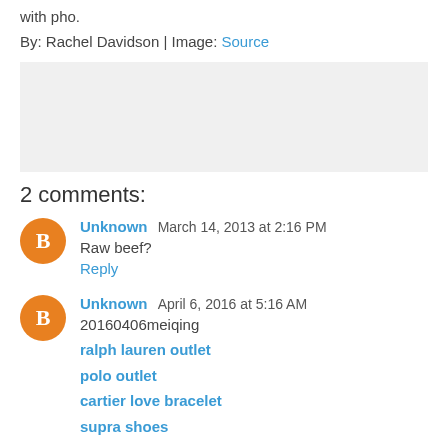with pho.
By: Rachel Davidson | Image: Source
[Figure (other): Gray advertisement/placeholder box]
2 comments:
Unknown March 14, 2013 at 2:16 PM
Raw beef?
Reply
Unknown April 6, 2016 at 5:16 AM
20160406meiqing
ralph lauren outlet
polo outlet
cartier love bracelet
supra shoes